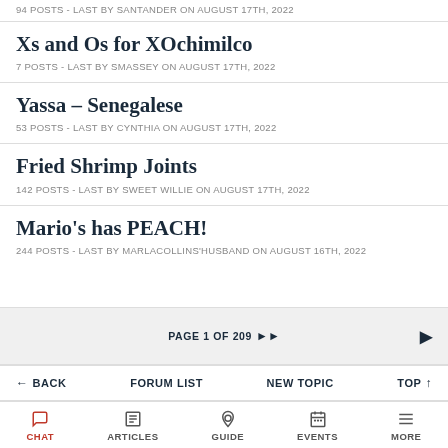94 POSTS - LAST BY SANTANDER ON AUGUST 17TH, 2022
Xs and Os for XOchimilco
7 POSTS - LAST BY SMASSEY ON AUGUST 17TH, 2022
Yassa – Senegalese
53 POSTS - LAST BY CYNTHIA ON AUGUST 17TH, 2022
Fried Shrimp Joints
142 POSTS - LAST BY SWEET WILLIE ON AUGUST 17TH, 2022
Mario's has PEACH!
244 POSTS - LAST BY MARLACOLLINS'HUSBAND ON AUGUST 16TH, 2022
PAGE 1 OF 209 >> |> BACK  FORUM LIST  NEW TOPIC  TOP↑  CHAT  ARTICLES  GUIDE  EVENTS  MORE